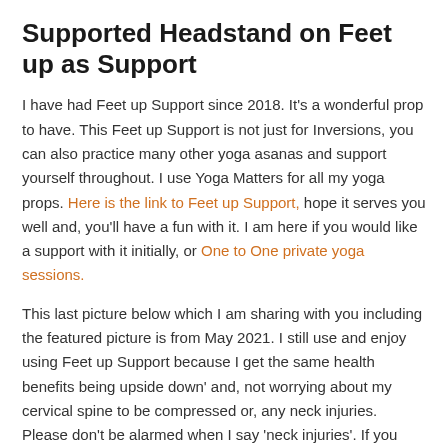Supported Headstand on Feet up as Support
I have had Feet up Support since 2018. It's a wonderful prop to have. This Feet up Support is not just for Inversions, you can also practice many other yoga asanas and support yourself throughout. I use Yoga Matters for all my yoga props. Here is the link to Feet up Support, hope it serves you well and, you'll have a fun with it. I am here if you would like a support with it initially, or One to One private yoga sessions.
This last picture below which I am sharing with you including the featured picture is from May 2021. I still use and enjoy using Feet up Support because I get the same health benefits being upside down' and, not worrying about my cervical spine to be compressed or, any neck injuries. Please don't be alarmed when I say 'neck injuries'. If you have good